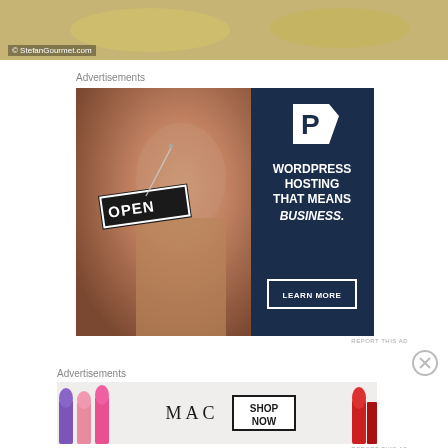[Figure (photo): Top portion of a food photo showing dough or pastry items on a surface, with watermark '© StefanGourmet.com' in lower left]
© StefanGourmet.com
Advertisements
[Figure (photo): Advertisement for WordPress Hosting by Pressable. Left half shows a woman smiling and holding an OPEN sign in a shop window. Right half is dark navy with a 'P' logo and text: WORDPRESS HOSTING THAT MEANS BUSINESS. with a LEARN MORE button.]
REPORT THIS AD
Advertisements
[Figure (photo): MAC cosmetics advertisement showing colorful lipsticks on the left, MAC logo in center, and a SHOP NOW box on the right]